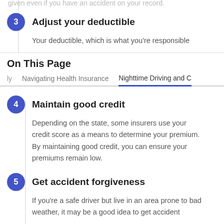3. Adjust your deductible – Your deductible, which is what you're responsible
On This Page
Navigating Health Insurance   Nighttime Driving and C
4. Maintain good credit – Depending on the state, some insurers use your credit score as a means to determine your premium. By maintaining good credit, you can ensure your premiums remain low.
5. Get accident forgiveness – If you're a safe driver but live in an area prone to bad weather, it may be a good idea to get accident